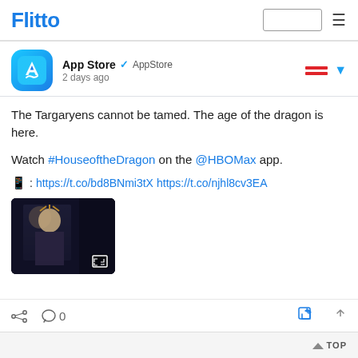Flitto
App Store @AppStore · 2 days ago
The Targaryens cannot be tamed. The age of the dragon is here.

Watch #HouseoftheDragon on the @HBOMax app.

📱 : https://t.co/bd8BNmi3tX https://t.co/njhl8cv3EA
[Figure (screenshot): Thumbnail image from House of the Dragon showing a female character in dark royal attire with decorative headpiece, dark atmospheric background, with an expand/fullscreen icon overlay in the bottom right corner.]